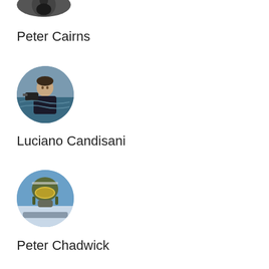[Figure (photo): Circular profile photo of person, partially cropped at top]
Peter Cairns
[Figure (photo): Circular profile photo of Luciano Candisani, man in water holding camera equipment]
Luciano Candisani
[Figure (photo): Circular profile photo of Peter Chadwick, person in pilot/military helmet and visor]
Peter Chadwick